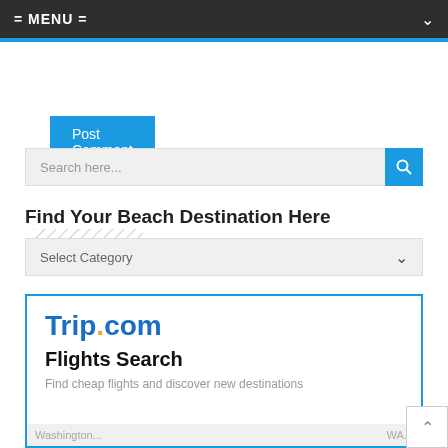= MENU =
Post Comment
Search here...
Find Your Beach Destination Here
Select Category
[Figure (logo): Trip.com logo with blue text and orange dot]
Flights Search
Find cheap flights and discover new destinations
Washington...